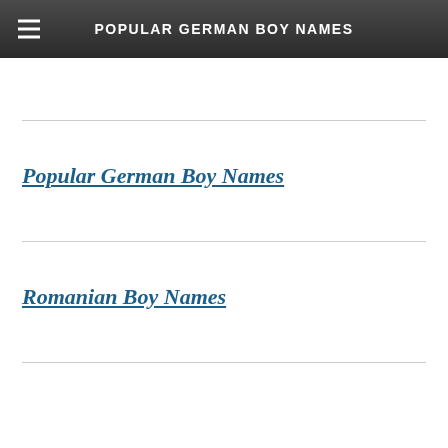POPULAR GERMAN BOY NAMES
Popular German Boy Names
Romanian Boy Names